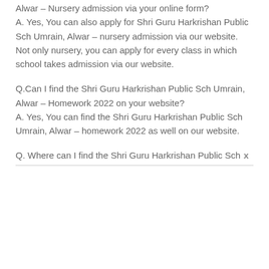Alwar – Nursery admission via your online form? A. Yes, You can also apply for Shri Guru Harkrishan Public Sch Umrain, Alwar – nursery admission via our website. Not only nursery, you can apply for every class in which school takes admission via our website.
Q.Can I find the Shri Guru Harkrishan Public Sch Umrain, Alwar – Homework 2022 on your website? A. Yes, You can find the Shri Guru Harkrishan Public Sch Umrain, Alwar – homework 2022 as well on our website.
Q. Where can I find the Shri Guru Harkrishan Public Sch